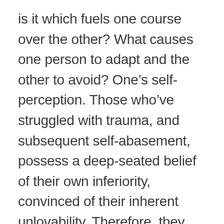is it which fuels one course over the other? What causes one person to adapt and the other to avoid? One's self-perception. Those who've struggled with trauma, and subsequent self-abasement, possess a deep-seated belief of their own inferiority, convinced of their inherent unlovability. Therefore, they self-sabotage, choosing fantasy over reality, a world peopled with individuals who can never, and will never, hurt them.
Whether we're seeking the self-assured man or the beautiful, and exceptionally kind, woman, we've deluded ourselves into a world of safety, and a life that's only partially lived. The disappointment of another is preferred to the disappointment from another, so life devolves into an endless chase of perfection, an ideal love